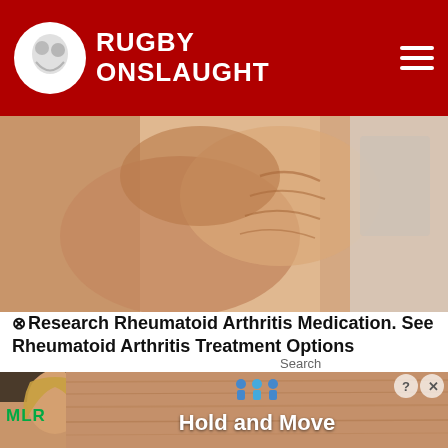Rugby Onslaught
[Figure (photo): Close-up photo of a person holding their wrist/hand, suggesting joint pain or arthritis]
Research Rheumatoid Arthritis Medication. See Rheumatoid Arthritis Treatment Options
Search
[Figure (screenshot): Video thumbnail showing two men, one shirtless and one in grey shirt, with TBS logo overlay and play button]
[Figure (photo): Advertisement banner with people figures icons and text 'Hold and Move']
MLR